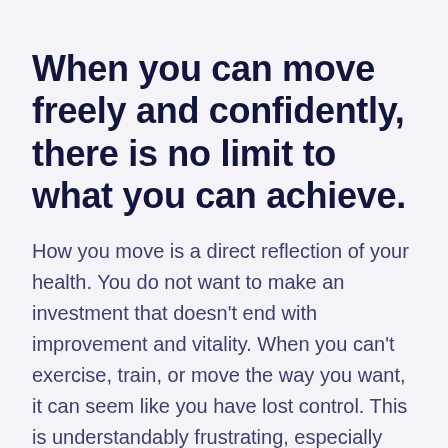When you can move freely and confidently, there is no limit to what you can achieve.
How you move is a direct reflection of your health. You do not want to make an investment that doesn't end with improvement and vitality. When you can't exercise, train, or move the way you want, it can seem like you have lost control. This is understandably frustrating, especially